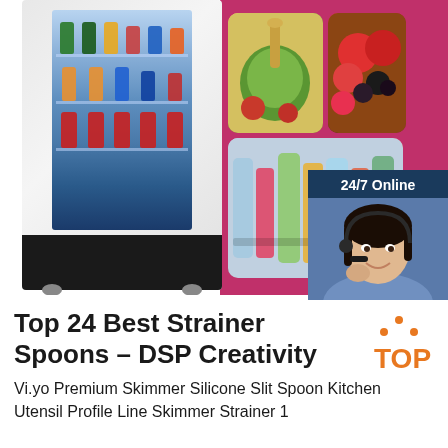[Figure (photo): Composite image: left side shows a refrigerated vending machine with glass door displaying colorful beverage bottles on multiple shelves, on a pink/magenta background panel with food images (vegetables with oil bottle, fresh berries/fruits, colorful glass bottles) arranged in a grid. Also includes a customer service chat widget showing a woman with headset, '24/7 Online' header, 'Click here for free chat!' text, and orange QUOTATION button.]
Top 24 Best Strainer Spoons – DSP Creativity
Vi.yo Premium Skimmer Silicone Slit Spoon Kitchen Utensil Profile Line Skimmer Strainer 1